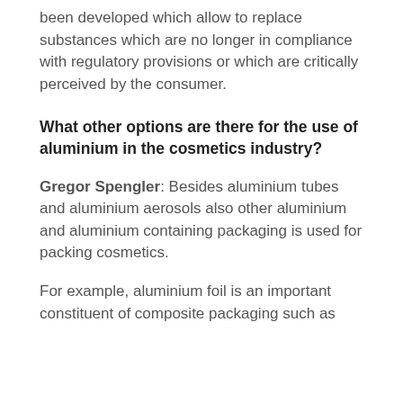been developed which allow to replace substances which are no longer in compliance with regulatory provisions or which are critically perceived by the consumer.
What other options are there for the use of aluminium in the cosmetics industry?
Gregor Spengler: Besides aluminium tubes and aluminium aerosols also other aluminium and aluminium containing packaging is used for packing cosmetics.
For example, aluminium foil is an important constituent of composite packaging such as